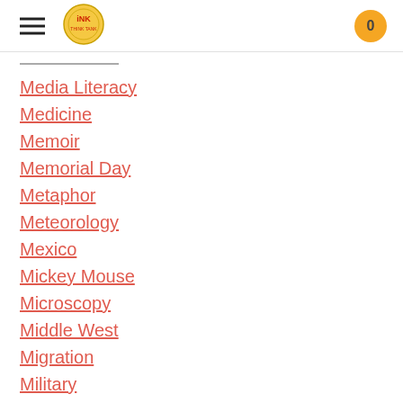INK Think Tank navigation header with logo and cart
Media Literacy
Medicine
Memoir
Memorial Day
Metaphor
Meteorology
Mexico
Mickey Mouse
Microscopy
Middle West
Migration
Military
Miners
Mississippi